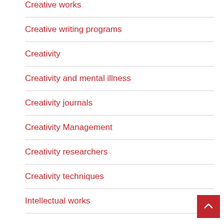Creative works
Creative writing programs
Creativity
Creativity and mental illness
Creativity journals
Creativity Management
Creativity researchers
Creativity techniques
Intellectual works